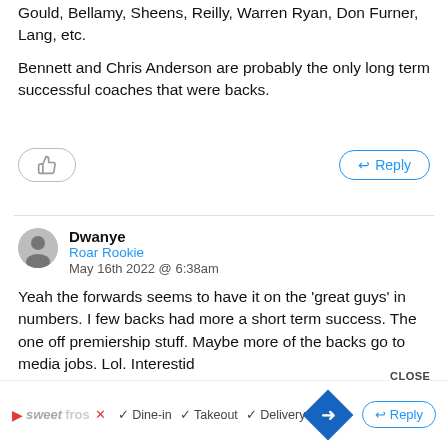Gould, Bellamy, Sheens, Reilly, Warren Ryan, Don Furner, Lang, etc.
Bennett and Chris Anderson are probably the only long term successful coaches that were backs.
Dwanye
Roar Rookie
May 16th 2022 @ 6:38am
Yeah the forwards seems to have it on the 'great guys' in numbers. I few backs had more a short term success. The one off premiership stuff. Maybe more of the backs go to media jobs. Lol. Interestd